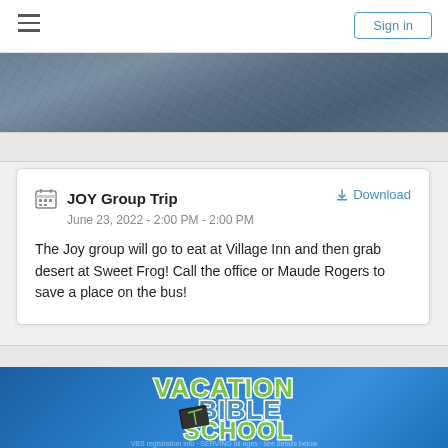Sign in
[Figure (photo): Dark blue-gray textured stone or concrete background image used as a hero banner]
JOY Group Trip
June 23, 2022 - 2:00 PM - 2:00 PM
The Joy group will go to eat at Village Inn and then grab desert at Sweet Frog! Call the office or Maude Rogers to save a place on the bus!
[Figure (illustration): Vacation Bible School logo with colorful stylized text: VACATION BIBLE SCHOOL in green and blue letters on a blue gradient background, with a black Bible book icon]